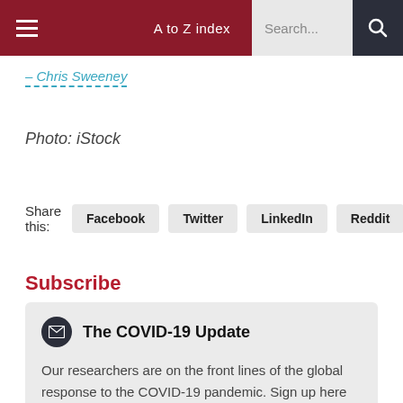A to Z index | Search...
– Chris Sweeney
Photo: iStock
Share this: Facebook  Twitter  LinkedIn  Reddit
Subscribe
The COVID-19 Update

Our researchers are on the front lines of the global response to the COVID-19 pandemic. Sign up here to receive our weekly newsletter highlighting their efforts.